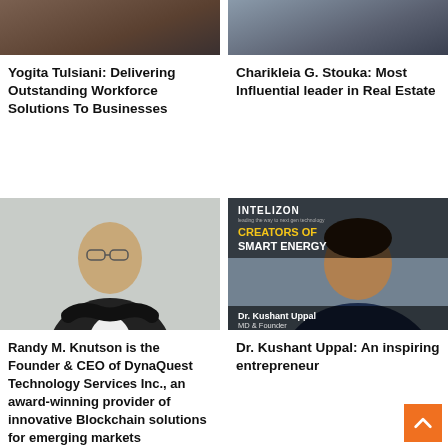[Figure (photo): Partial photo of Yogita Tulsiani, top portion only]
[Figure (photo): Partial photo of Charikleia G. Stouka, top portion only]
Yogita Tulsiani: Delivering Outstanding Workforce Solutions To Businesses
Charikleia G. Stouka: Most Influential leader in Real Estate
[Figure (photo): Photo of Randy M. Knutson, bald man in dark suit with arms crossed]
[Figure (photo): Photo of Dr. Kushant Uppal, MD & Founder of Intelizon, Creators of Smart Energy]
Randy M. Knutson is the Founder & CEO of DynaQuest Technology Services Inc., an award-winning provider of innovative Blockchain solutions for emerging markets
Dr. Kushant Uppal: An inspiring entrepreneur